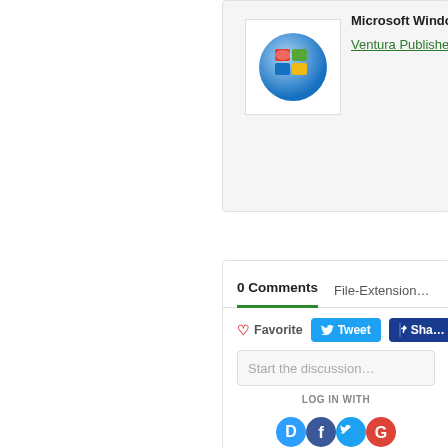[Figure (screenshot): Windows logo globe icon]
Microsoft Windows:
Ventura Publisher
0 Comments	File-Extensions
Favorite
Tweet
Share
Start the discussion…
LOG IN WITH
[Figure (screenshot): Social login icons: Disqus (D), Facebook (f), Twitter bird, Google (G)]